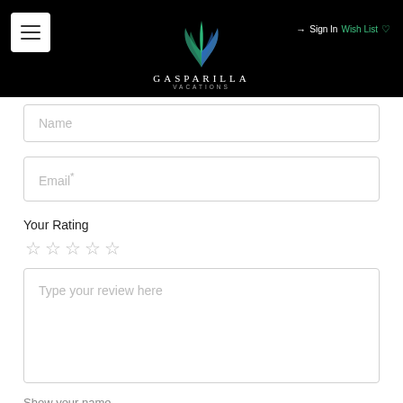[Figure (logo): Gasparilla Vacations logo with teal leaf/feather icon on black header bar, with menu hamburger button on left and Sign In / Wish List on right]
Name
Email*
Your Rating
[Figure (other): Five empty star rating icons]
Type your review here
Show your name